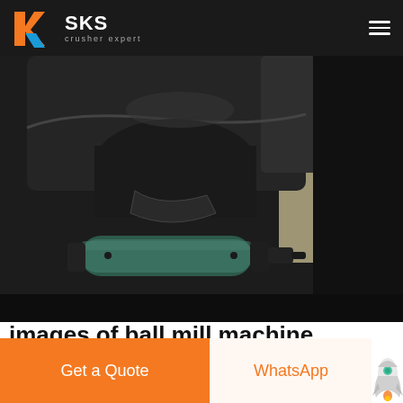SKS crusher expert
[Figure (photo): Close-up photo of industrial ball mill machine components showing black metal parts, a cylindrical green/teal shaft with fittings, and mechanical assembly details]
images of ball mill machine suttonseedsindiainGRINDING MILLS BALL MILLS New Used Mining Mineral
Get a Quote
WhatsApp